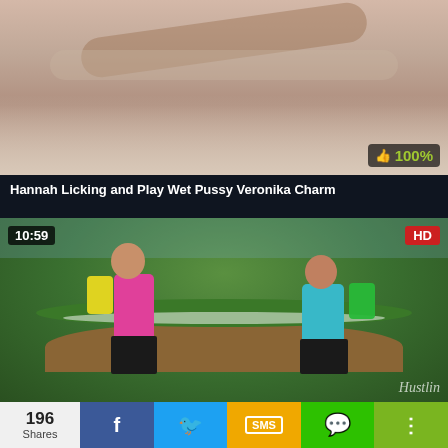[Figure (screenshot): Video thumbnail showing partial view of a person on a bed, with a 100% rating badge in the bottom right corner]
Hannah Licking and Play Wet Pussy Veronika Charm
[Figure (screenshot): Video thumbnail showing two women in crop tops and shorts holding cheerleader pom-poms outdoors, with duration 10:59 and HD badge]
196 Shares